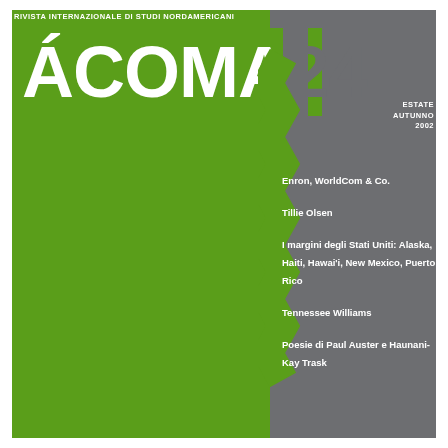Rivista Internazionale di Studi Nordamericani
ÁCOMA 24
ESTATE
AUTUNNO
2002
Enron, WorldCom & Co.
Tillie Olsen
I margini degli Stati Uniti: Alaska, Haiti, Hawai'i, New Mexico, Puerto Rico
Tennessee Williams
Poesie di Paul Auster e Haunani-Kay Trask